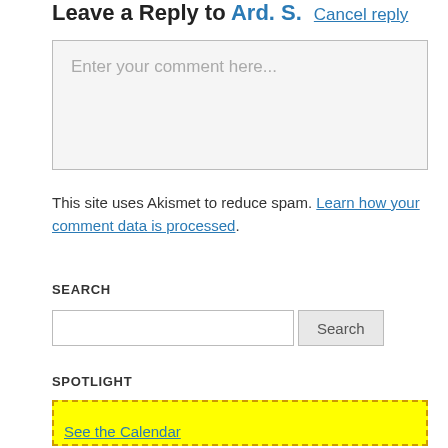Leave a Reply to Ard. S.  Cancel reply
[Figure (other): Comment text input box with placeholder text 'Enter your comment here...']
This site uses Akismet to reduce spam. Learn how your comment data is processed.
SEARCH
[Figure (other): Search input field and Search button]
SPOTLIGHT
[Figure (other): Yellow highlighted box with dashed orange border containing link 'See the Calendar']